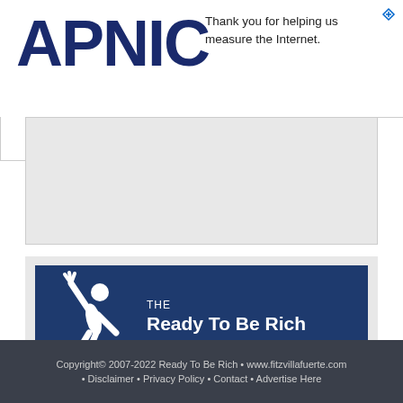[Figure (logo): APNIC logo with dark navy blue bold text]
Thank you for helping us measure the Internet.
[Figure (illustration): The Ready To Be Rich Content Network banner with white jumping figure silhouette on dark navy background]
Copyright© 2007-2022 Ready To Be Rich • www.fitzvillafuerte.com • Disclaimer • Privacy Policy • Contact • Advertise Here